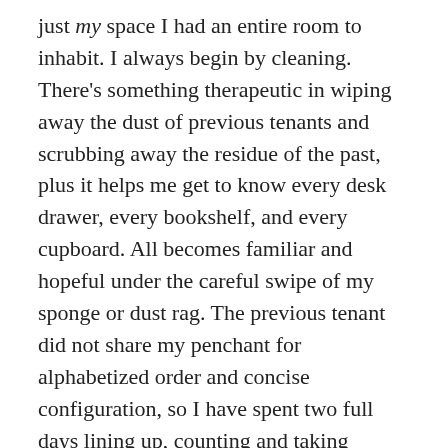just my space I had an entire room to inhabit. I always begin by cleaning. There's something therapeutic in wiping away the dust of previous tenants and scrubbing away the residue of the past, plus it helps me get to know every desk drawer, every bookshelf, and every cupboard. All becomes familiar and hopeful under the careful swipe of my sponge or dust rag. The previous tenant did not share my penchant for alphabetized order and concise configuration, so I have spent two full days lining up, counting and taking inventory of books, creating space for curriculum guides and study materials, and straightening and tying up bundles of computer and Ethernet cables. Other than the lives of thirteen spiders I had to end, it's been a satisfying getting-to-know-you week. Oh, and